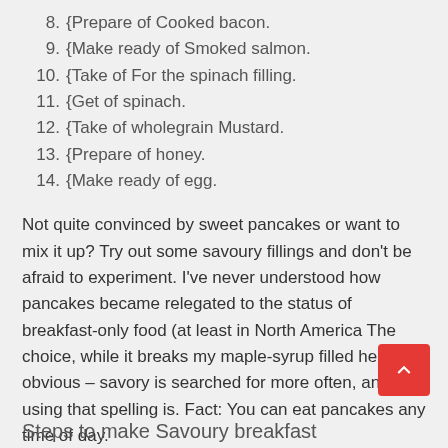8. {Prepare of Cooked bacon.
9. {Make ready of Smoked salmon.
10. {Take of For the spinach filling.
11. {Get of spinach.
12. {Take of wholegrain Mustard.
13. {Prepare of honey.
14. {Make ready of egg.
Not quite convinced by sweet pancakes or want to mix it up? Try out some savoury fillings and don't be afraid to experiment. I've never understood how pancakes became relegated to the status of breakfast-only food (at least in North America The choice, while it breaks my maple-syrup filled heart, is obvious – savory is searched for more often, and using that spelling is. Fact: You can eat pancakes any time of day.
Steps to make Savoury breakfast